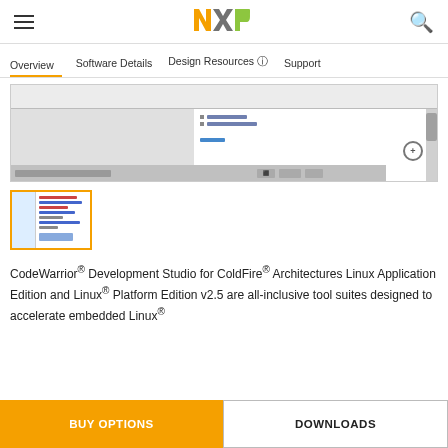[Figure (logo): NXP logo in orange and green]
Overview   Software Details   Design Resources ⓘ   Support
[Figure (screenshot): Screenshot of CodeWarrior IDE showing code editor with syntax highlighting and toolbar]
[Figure (screenshot): Thumbnail of CodeWarrior IDE screenshot]
CodeWarrior® Development Studio for ColdFire® Architectures Linux Application Edition and Linux® Platform Edition v2.5 are all-inclusive tool suites designed to accelerate embedded Linux®
BUY OPTIONS   DOWNLOADS